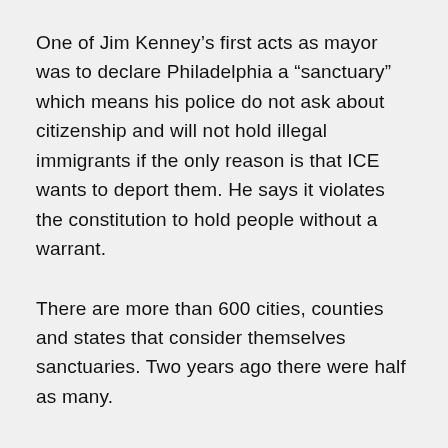One of Jim Kenney’s first acts as mayor was to declare Philadelphia a “sanctuary” which means his police do not ask about citizenship and will not hold illegal immigrants if the only reason is that ICE wants to deport them. He says it violates the constitution to hold people without a warrant.
There are more than 600 cities, counties and states that consider themselves sanctuaries. Two years ago there were half as many.
President Trump: We’ve ordered a crackdown on sanctuary cities…
President Trump: … (partially visible)